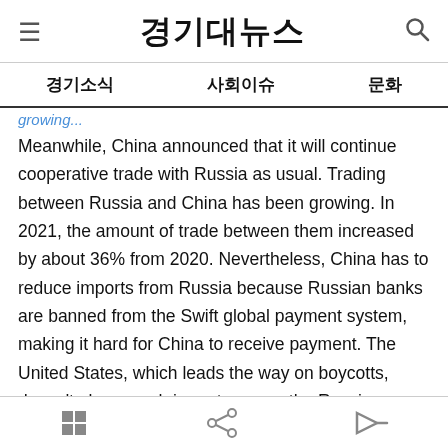경기대뉴스
경기소식  사회이슈  문화
Meanwhile, China announced that it will continue cooperative trade with Russia as usual. Trading between Russia and China has been growing. In 2021, the amount of trade between them increased by about 36% from 2020. Nevertheless, China has to reduce imports from Russia because Russian banks are banned from the Swift global payment system, making it hard for China to receive payment. The United States, which leads the way on boycotts, doesn't place much importance on the Russian market. Therefore, most people are paying attention to the EU's next step.